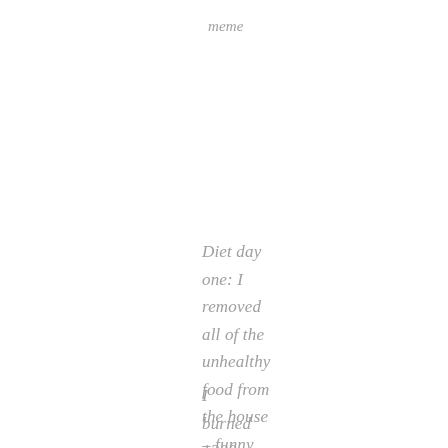meme
Diet day one: I removed all of the unhealthy food from the house – funny ecard
I burned 1300